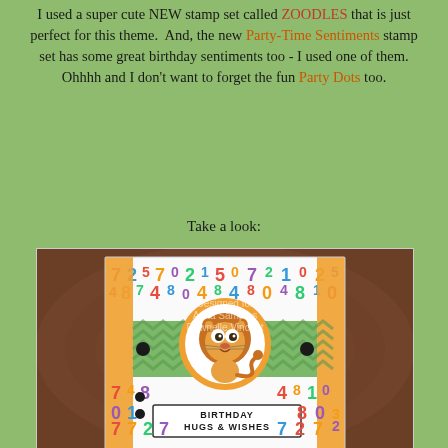I used a super cute NEW stamp set called ZOODLES that is just perfect for this theme. And, the new Party-Time Sentiments stamp set has some great birthday sentiments too - I used one of them. Ohhhh and I don't want to forget the fun Party Dots too.
Take a look:
[Figure (photo): A handmade birthday card featuring a cute cartoon lion in an orange circle frame, placed on colorful number-patterned paper. The card reads 'BIRTHDAY HUGS & WISHES'. The card is photographed on a wooden surface. A watermark reads 'Designed for Anita Samples, Dawnelle Vincent'.]